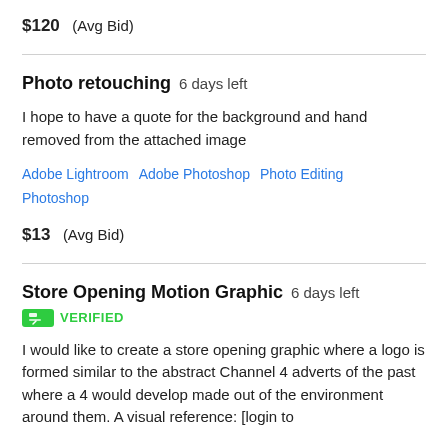$120  (Avg Bid)
Photo retouching  6 days left
I hope to have a quote for the background and hand removed from the attached image
Adobe Lightroom   Adobe Photoshop   Photo Editing   Photoshop
$13  (Avg Bid)
Store Opening Motion Graphic  6 days left
VERIFIED
I would like to create a store opening graphic where a logo is formed similar to the abstract Channel 4 adverts of the past where a 4 would develop made out of the environment around them. A visual reference: [login to